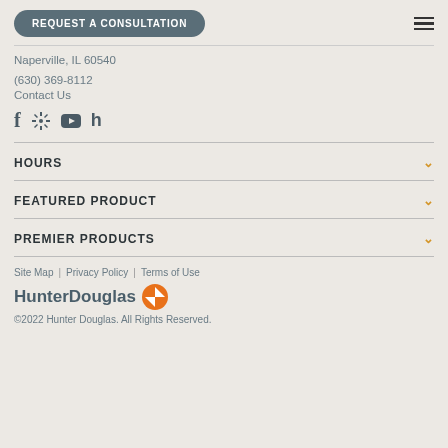REQUEST A CONSULTATION
Naperville, IL 60540
(630) 369-8112
Contact Us
[Figure (other): Social media icons: Facebook, Yelp, YouTube, Houzz]
HOURS
FEATURED PRODUCT
PREMIER PRODUCTS
Site Map | Privacy Policy | Terms of Use
[Figure (logo): HunterDouglas logo with orange compass icon]
©2022 Hunter Douglas. All Rights Reserved.